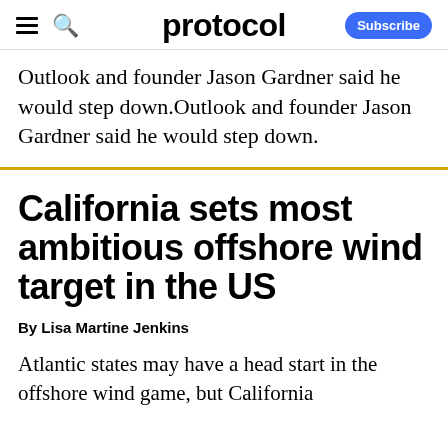protocol  Subscribe
Outlook and founder Jason Gardner said he would step down.
California sets most ambitious offshore wind target in the US
By Lisa Martine Jenkins
Atlantic states may have a head start in the offshore wind game, but California